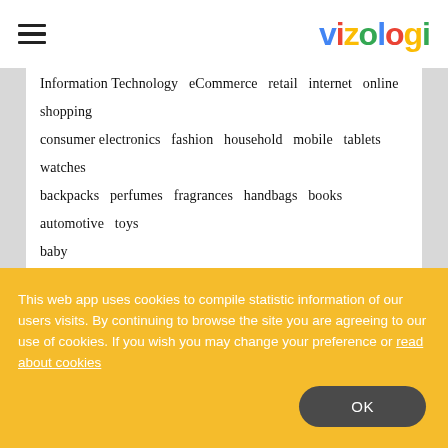vizologi
Information Technology  eCommerce  retail  internet  online  shopping  consumer electronics  fashion  household  mobile  tablets  watches  backpacks  perfumes  fragrances  handbags  books  automotive  toys  baby
This web app uses cookies to compile statistic information of our users visits. By continuing to browse the site you are agreeing to our use of cookies. If you wish you may change your preference or read about cookies